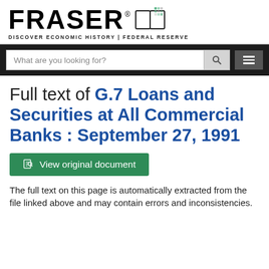FRASER® DISCOVER ECONOMIC HISTORY | FEDERAL RESERVE
Full text of G.7 Loans and Securities at All Commercial Banks : September 27, 1991
[Figure (other): Green button: View original document]
The full text on this page is automatically extracted from the file linked above and may contain errors and inconsistencies.